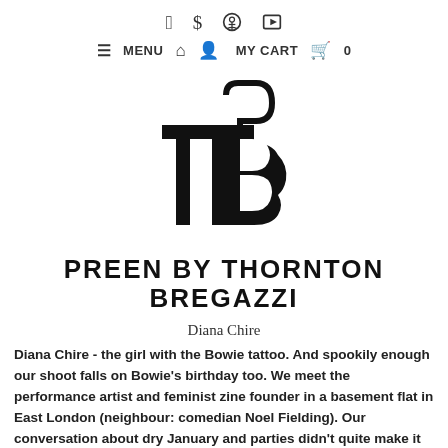f  📷   pinterest  youtube
≡ MENU  🏠  👤  MY CART  🛍  0
[Figure (logo): Preen by Thornton Bregazzi monogram logo — stylized interlocked TB letters in black]
PREEN BY THORNTON BREGAZZI
Diana Chire
Diana Chire - the girl with the Bowie tattoo. And spookily enough our shoot falls on Bowie's birthday too. We meet the performance artist and feminist zine founder in a basement flat in East London (neighbour: comedian Noel Fielding). Our conversation about dry January and parties didn't quite make it into the interview, but we